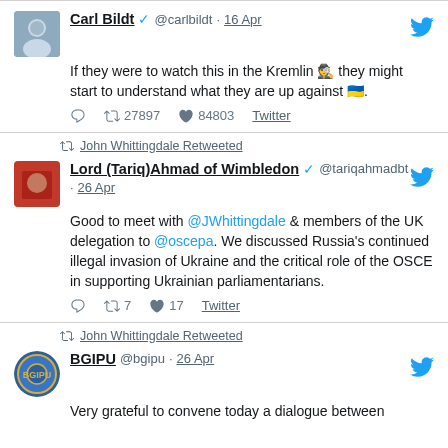Carl Bildt @carlbildt · 16 Apr — If they were to watch this in the Kremlin they might start to understand what they are up against. 27897 retweets 84803 likes
John Whittingdale Retweeted — Lord (Tariq)Ahmad of Wimbledon @tariqahmadbt · 26 Apr — Good to meet with @JWhittingdale & members of the UK delegation to @oscepa. We discussed Russia's continued illegal invasion of Ukraine and the critical role of the OSCE in supporting Ukrainian parliamentarians. 7 retweets 17 likes
John Whittingdale Retweeted — BGIPU @bgipu · 26 Apr — Very grateful to convene today a dialogue between